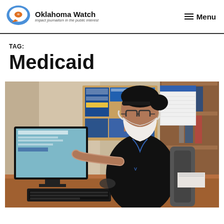Oklahoma Watch — impact journalism in the public interest | Menu
TAG: Medicaid
[Figure (photo): A woman wearing a black headband, glasses, and a white KN95 face mask, dressed in a black uniform with a V logo lanyard, sits at a desk pointing at a computer monitor. Behind her is a corkboard with flyers and a calendar. To the right is a wooden shelving unit with binders.]